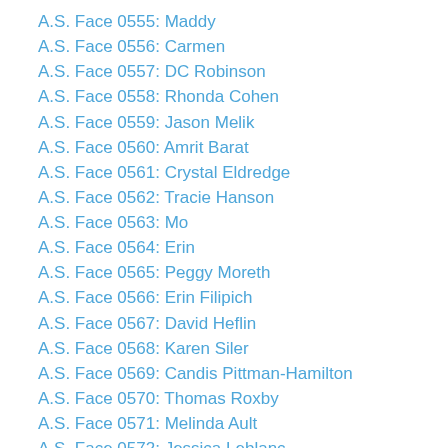A.S. Face 0555: Maddy
A.S. Face 0556: Carmen
A.S. Face 0557: DC Robinson
A.S. Face 0558: Rhonda Cohen
A.S. Face 0559: Jason Melik
A.S. Face 0560: Amrit Barat
A.S. Face 0561: Crystal Eldredge
A.S. Face 0562: Tracie Hanson
A.S. Face 0563: Mo
A.S. Face 0564: Erin
A.S. Face 0565: Peggy Moreth
A.S. Face 0566: Erin Filipich
A.S. Face 0567: David Heflin
A.S. Face 0568: Karen Siler
A.S. Face 0569: Candis Pittman-Hamilton
A.S. Face 0570: Thomas Roxby
A.S. Face 0571: Melinda Ault
A.S. Face 0572: Jessica Leblanc
A.S. Face 0573: Helen
A.S. Face 0574: Nicole Kelley